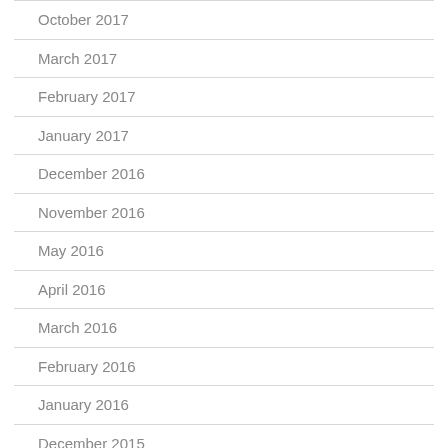October 2017
March 2017
February 2017
January 2017
December 2016
November 2016
May 2016
April 2016
March 2016
February 2016
January 2016
December 2015
November 2015
October 2015